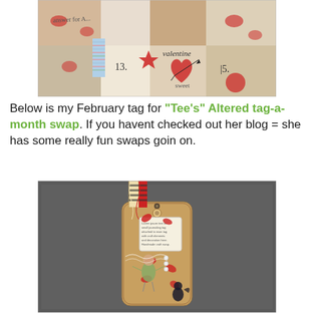[Figure (photo): Close-up photo of a Valentine's Day scrapbook or craft layout with numbered sections (13, 15), hearts, red stamps, 'valentine' text, and decorative patterned papers.]
Below is my February tag for "Tee's" Altered tag-a-month swap.  If you havent checked out her blog = she has some really fun swaps goin on.
[Figure (photo): Photo of a handmade altered tag craft project with ribbons at top, decorative elements including a cherub/angel figure, red heart shapes, pearls, and a small journaling tag attached. Set against a dark gray background.]